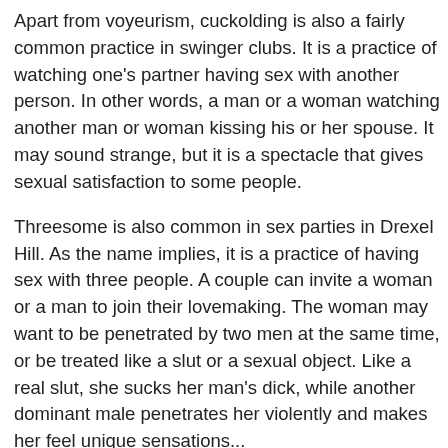Apart from voyeurism, cuckolding is also a fairly common practice in swinger clubs. It is a practice of watching one's partner having sex with another person. In other words, a man or a woman watching another man or woman kissing his or her spouse. It may sound strange, but it is a spectacle that gives sexual satisfaction to some people.
Threesome is also common in sex parties in Drexel Hill. As the name implies, it is a practice of having sex with three people. A couple can invite a woman or a man to join their lovemaking. The woman may want to be penetrated by two men at the same time, or be treated like a slut or a sexual object. Like a real slut, she sucks her man's dick, while another dominant male penetrates her violently and makes her feel unique sensations...
Always in a swingers club, it is possible to attend sessions of cotism, that is to say couples who make love next to each other. They like the idea of having spectators and being able to watch other people having sex next to them as well. So you don't have to be modest if you want to feel comfortable in a place like this. You also have to be ready for anything, because practices like the sex